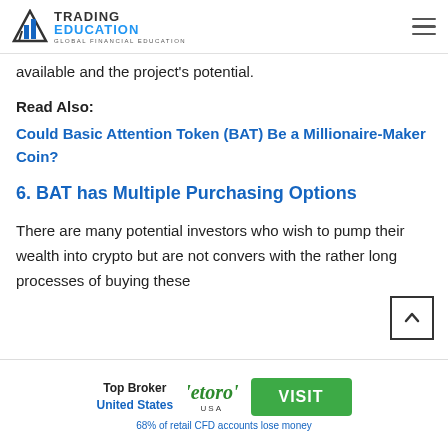Trading Education — Global Financial Education
available and the project's potential.
Read Also:
Could Basic Attention Token (BAT) Be a Millionaire-Maker Coin?
6. BAT has Multiple Purchasing Options
There are many potential investors who wish to pump their wealth into crypto but are not convers with the rather long processes of buying these
Top Broker United States | eToro USA | VISIT | 68% of retail CFD accounts lose money